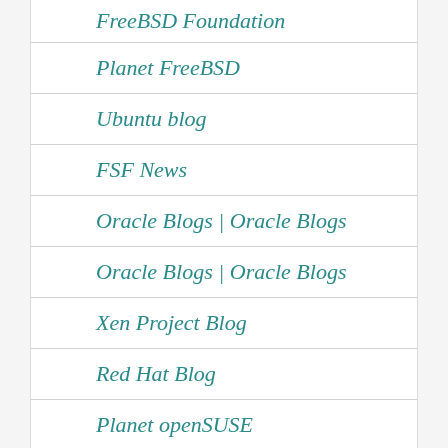FreeBSD Foundation
Planet FreeBSD
Ubuntu blog
FSF News
Oracle Blogs | Oracle Blogs
Oracle Blogs | Oracle Blogs
Xen Project Blog
Red Hat Blog
Planet openSUSE
Fedora People
Planet Debian